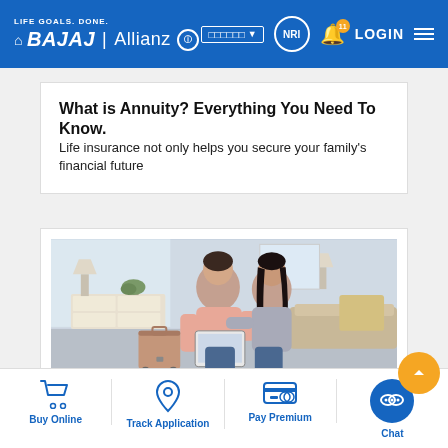LIFE GOALS. DONE. BAJAJ Allianz — Navigation: language selector, NRI, notifications (11), LOGIN, menu
What is Annuity? Everything You Need To Know.
Life insurance not only helps you secure your family's financial future
[Figure (photo): Couple sitting together looking at a tablet, in a living room setting with a suitcase nearby]
Buy Online | Track Application | Pay Premium | Chat